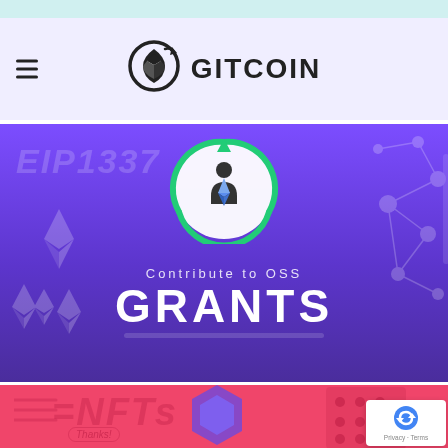GITCOIN
[Figure (illustration): Gitcoin Grants promotional banner with purple gradient background. Shows 'EIP1337' text in italic, Ethereum diamond icons, a network graph, and a central circular logo with a person figure and Ethereum symbol. Text reads 'Contribute to OSS' and 'GRANTS' in large white letters.]
[Figure (illustration): Gitcoin NFTs promotional banner with pink/red background. Shows '=NFTs' text in italic, decorative lines, a 'Thanks!' badge, a blue hexagon shape, and a grid of dots pattern.]